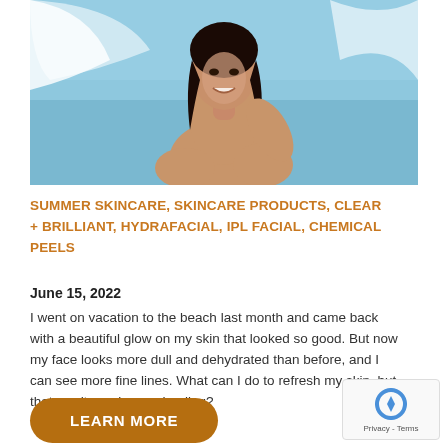[Figure (photo): Woman at the beach smiling, holding a white fabric, with blue sky and water in the background]
SUMMER SKINCARE, SKINCARE PRODUCTS, CLEAR + BRILLIANT, HYDRAFACIAL, IPL FACIAL, CHEMICAL PEELS
June 15, 2022
I went on vacation to the beach last month and came back with a beautiful glow on my skin that looked so good. But now my face looks more dull and dehydrated than before, and I can see more fine lines. What can I do to refresh my skin, but that won't require any healing?
LEARN MORE